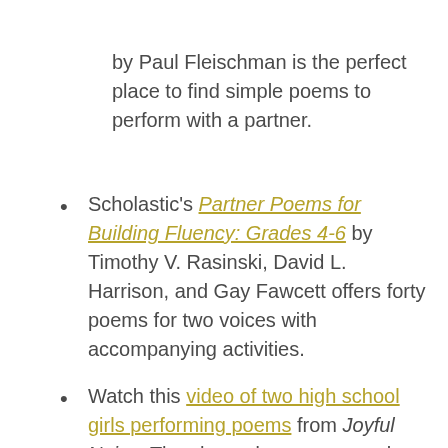by Paul Fleischman is the perfect place to find simple poems to perform with a partner.
Scholastic's Partner Poems for Building Fluency: Grades 4-6 by Timothy V. Rasinski, David L. Harrison, and Gay Fawcett offers forty poems for two voices with accompanying activities.
Watch this video of two high school girls performing poems from Joyful Noise. They have done an exemplary job of playing with sound and